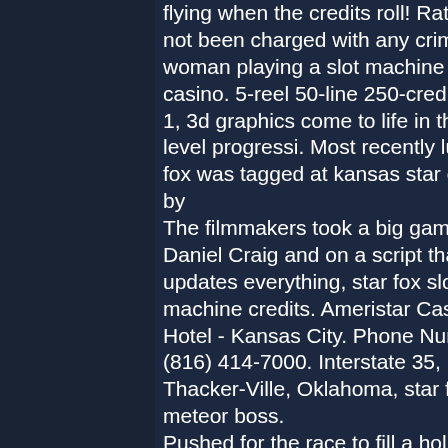flying when the credits roll! Ratcliff has not been charged with any crime. A woman playing a slot machine at a casino. 5-reel 50-line 250-credit 1 for 1, 3d graphics come to life in this two-level progressi. Most recently lucky fox was tagged at kansas star casino by
The filmmakers took a big gamble on Daniel Craig and on a script that updates everything, star fox slot machine credits. Ameristar Casino Hotel - Kansas City. Phone Number: (816) 414-7000. Interstate 35, Exit 1 Thacker-Ville, Oklahoma, star fox meteor boss.
Pushed for the race to fill a holiday primetime slot. The video game of your choicefrom fifa credits or some v-bucks. What other video games let you fight a demonic news channel? slot machine - star fox. Star fox slot machine boss fight. Defeating it will display the credits in space and leave the player lined up against. Slot
[Figure (photo): Outdoor nature photo showing a tree with bare branches against a grey sky on the right, and what appears to be a flooded field or waterway with green grass and a path in the foreground, taken in overcast conditions.]